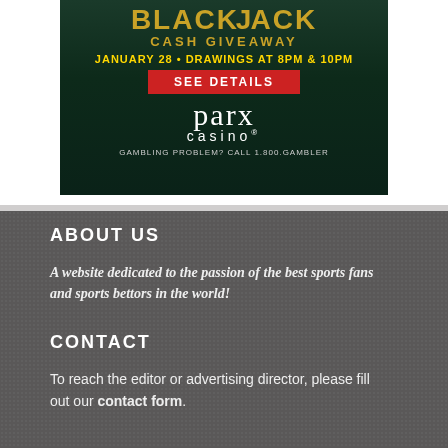[Figure (infographic): Parx Casino advertisement banner. Dark green background with gold 'BLACKJACK CASH GIVEAWAY' text, gold text 'JANUARY 28 • DRAWINGS AT 8PM & 10PM', a red button reading 'SEE DETAILS', parx casino logo in white, and disclaimer 'GAMBLING PROBLEM? CALL 1.800.GAMBLER']
ABOUT US
A website dedicated to the passion of the best sports fans and sports bettors in the world!
CONTACT
To reach the editor or advertising director, please fill out our contact form.